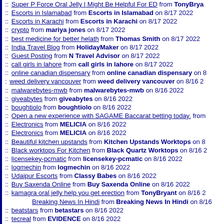:: Super P Force Oral Jelly | Might Be Helpful For ED from TonyBryant on ...
:: Escorts in Islamabad from Escorts in Islamabad on 8/17 2022
:: Escorts in Karachi from Escorts in Karachi on 8/17 2022
:: crypto from mariya jones on 8/17 2022
:: best medicine for better helath from Thomas Smith on 8/17 2022
:: India Travel Blog from HolidayMaker on 8/17 2022
:: Guest Posting from N Travel Advisor on 8/17 2022
:: call girls in lahore from call girls in lahore on 8/17 2022
:: online canadian dispensary from online canadian dispensary on 8/...
:: weed delivery vancouver from weed delivery vancouver on 8/16 2...
:: malwarebytes-mwb from malwarebytes-mwb on 8/16 2022
:: giveabytes from giveabytes on 8/16 2022
:: boughtiolo from boughtiolo on 8/16 2022
:: Open a new experience with SAGAME Baccarat betting today. from ...
:: Electronics from MELICIA on 8/16 2022
:: Electronics from MELICIA on 8/16 2022
:: Beautiful kitchen upstands from Kitchen Upstands Worktops on 8/...
:: Black worktops For Kitchen from Black Quartz Worktops on 8/16 2...
:: licensekey-pcmatic from licensekey-pcmatic on 8/16 2022
:: logmechin from logmechin on 8/16 2022
:: Udaipur Escorts from Classy Babes on 8/16 2022
:: Buy Saxenda Online from Buy Saxenda Online on 8/16 2022
:: kamagra oral jelly help you get erection from TonyBryant on 8/16 2...
Breaking News In Hindi from Breaking News In Hindi on 8/16...
:: beatstars from betastars on 8/16 2022
:: tecreal from EVIDENCE on 8/16 2022
:: Glass company in Dubai from Dubai glass works on 8/16 2022
:: vilitra 20 mg, Side Effects from latest pills on 8/16 2022
:: Extra Super Avana Pill For Sale USA Free Shipping Available from ...
:: FMovies Website 2021 from FMovies on 8/16 2022
:: (cut off)